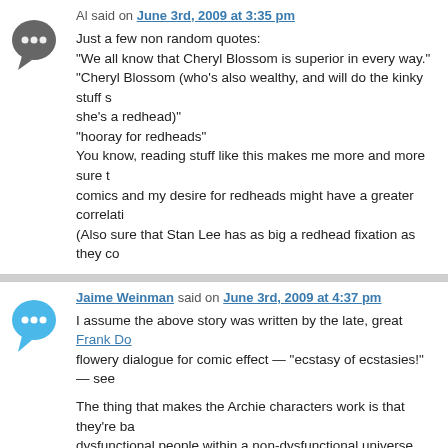[Figure (illustration): Dark grey speech bubble avatar icon with ellipsis]
Al said on June 3rd, 2009 at 3:35 pm
Just a few non random quotes:
"We all know that Cheryl Blossom is superior in every way."
"Cheryl Blossom (who's also wealthy, and will do the kinky stuff she's a redhead)"
"hooray for redheads"
You know, reading stuff like this makes me more and more sure that my love of comics and my desire for redheads might have a greater correlation.
(Also sure that Stan Lee has as big a redhead fixation as they co
[Figure (illustration): Blue speech bubble avatar icon with ellipsis]
Jaime Weinman said on June 3rd, 2009 at 4:37 pm
I assume the above story was written by the late, great Frank Do... flowery dialogue for comic effect — "ecstasy of ecstasies!" — see...

The thing that makes the Archie characters work is that they're ba... dysfunctional people within a non-dysfunctional universe. That is, really bad in Riverdale, but within that context, they're all rather fla... mean or weird. Doyle understood that particularly well, usually.
[Figure (illustration): Dark grey speech bubble avatar icon with ellipsis]
Jonathan said on June 3rd, 2009 at 5:27 pm
@ Matthew E.

Brenda Lifschitz was the real name of Bibi Lanay (the movie star)